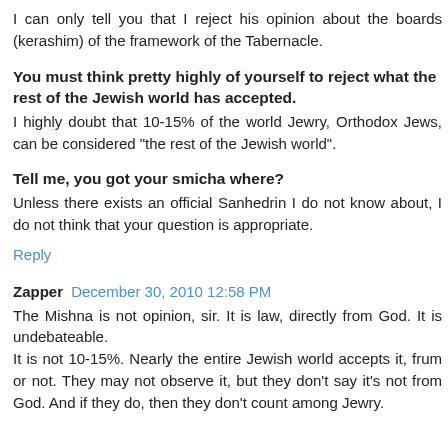I can only tell you that I reject his opinion about the boards (kerashim) of the framework of the Tabernacle.
You must think pretty highly of yourself to reject what the rest of the Jewish world has accepted.
I highly doubt that 10-15% of the world Jewry, Orthodox Jews, can be considered "the rest of the Jewish world".
Tell me, you got your smicha where?
Unless there exists an official Sanhedrin I do not know about, I do not think that your question is appropriate.
Reply
Zapper  December 30, 2010 12:58 PM
The Mishna is not opinion, sir. It is law, directly from God. It is undebateable.
It is not 10-15%. Nearly the entire Jewish world accepts it, frum or not. They may not observe it, but they don't say it's not from God. And if they do, then they don't count among Jewry.